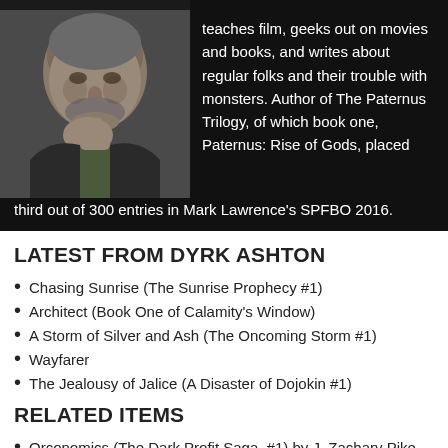[Figure (photo): Black and white photo of a man resting his chin on his hand, looking thoughtful, wearing a green shirt and jacket, against a dark background.]
teaches film, geeks out on movies and books, and writes about regular folks and their trouble with monsters. Author of The Paternus Trilogy, of which book one, Paternus: Rise of Gods, placed third out of 300 entries in Mark Lawrence's SPFBO 2016.
LATEST FROM DYRK ASHTON
Chasing Sunrise (The Sunrise Prophecy #1)
Architect (Book One of Calamity's Window)
A Storm of Silver and Ash (The Oncoming Storm #1)
Wayfarer
The Jealousy of Jalice (A Disaster of Dojokin #1)
RELATED ITEMS
Orconomics (The Dark Profit Saga, #1) by J. Zachary Pike - Book Review